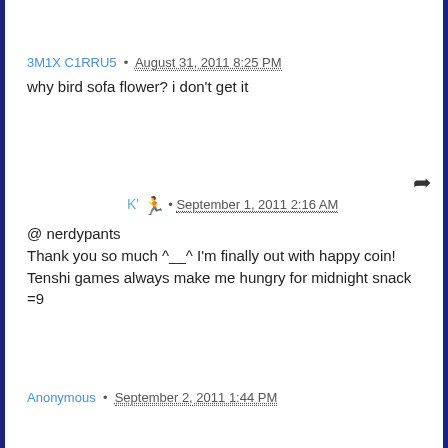3M1X C1RRU5 • August 31, 2011 8:25 PM
why bird sofa flower? i don't get it
K' 🏃 • September 1, 2011 2:16 AM
@ nerdypants
Thank you so much ^__^ I'm finally out with happy coin!
Tenshi games always make me hungry for midnight snack =9
Anonymous • September 2, 2011 1:44 PM